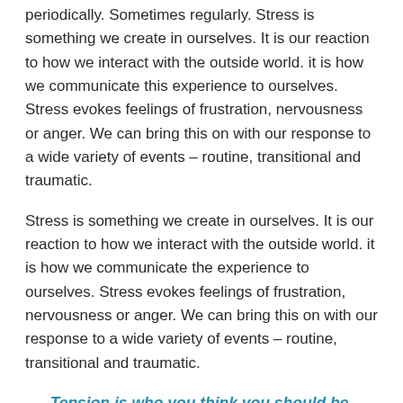periodically. Sometimes regularly. Stress is something we create in ourselves. It is our reaction to how we interact with the outside world. it is how we communicate this experience to ourselves. Stress evokes feelings of frustration, nervousness or anger. We can bring this on with our response to a wide variety of events – routine, transitional and traumatic.
Stress is something we create in ourselves. It is our reaction to how we interact with the outside world. it is how we communicate the experience to ourselves. Stress evokes feelings of frustration, nervousness or anger. We can bring this on with our response to a wide variety of events – routine, transitional and traumatic.
Tension is who you think you should be. Relaxation is who you are. ~Chinese Proverb